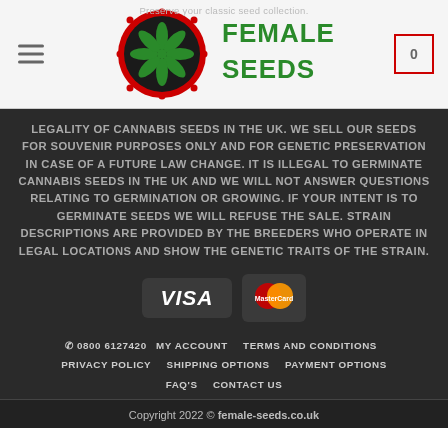[Figure (logo): Female Seeds logo — circular red and green cannabis leaf emblem with 'FEMALE SEEDS' text in green]
Preserve your classic seed collection.
LEGALITY OF CANNABIS SEEDS IN THE UK. WE SELL OUR SEEDS FOR SOUVENIR PURPOSES ONLY AND FOR GENETIC PRESERVATION IN CASE OF A FUTURE LAW CHANGE. IT IS ILLEGAL TO GERMINATE CANNABIS SEEDS IN THE UK AND WE WILL NOT ANSWER QUESTIONS RELATING TO GERMINATION OR GROWING. IF YOUR INTENT IS TO GERMINATE SEEDS WE WILL REFUSE THE SALE. STRAIN DESCRIPTIONS ARE PROVIDED BY THE BREEDERS WHO OPERATE IN LEGAL LOCATIONS AND SHOW THE GENETIC TRAITS OF THE STRAIN.
[Figure (logo): VISA and MasterCard payment logos]
☎ 0800 6127420   MY ACCOUNT   TERMS AND CONDITIONS   PRIVACY POLICY   SHIPPING OPTIONS   PAYMENT OPTIONS   FAQ'S   CONTACT US
Copyright 2022 © female-seeds.co.uk